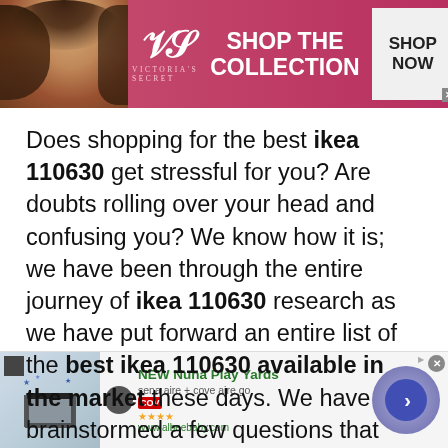[Figure (other): Victoria's Secret advertisement banner with model, VS logo, 'SHOP THE COLLECTION' text, and 'SHOP NOW' button]
Does shopping for the best ikea 110630 get stressful for you? Are doubts rolling over your head and confusing you? We know how it is; we have been through the entire journey of ikea 110630 research as we have put forward an entire list of the best ikea 110630 available in the market these days. We have brainstormed a few questions that most of you might have in
[Figure (other): Bottom advertisement for 'NEW Nuna Play Yards' from albeebaby.com with product image, ratings, and navigation arrow]